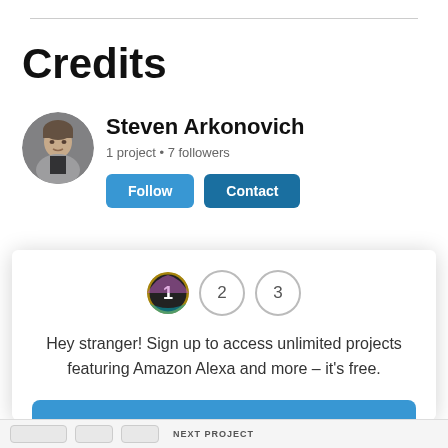Credits
Steven Arkonovich
1 project • 7 followers
[Figure (photo): Circular avatar photo of Steven Arkonovich, a middle-aged man in a grey jacket]
Hey stranger! Sign up to access unlimited projects featuring Amazon Alexa and more – it's free.
Sign up
Not now